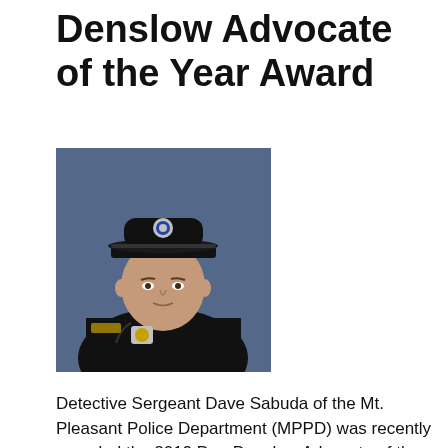Denslow Advocate of the Year Award
[Figure (photo): Portrait photo of Detective Sergeant Dave Sabuda in police uniform with black hat and badge, against a blue background]
Detective Sergeant Dave Sabuda of the Mt. Pleasant Police Department (MPPD) was recently awarded the 2019 Dan Denslow Advocate of the Year Award by the Isabella County Child Advocacy Center for his commitment to the agency and child advocacy. The award, named after the late Isabella County Sheriff's